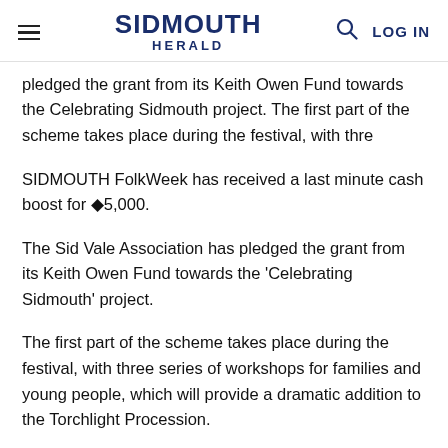SIDMOUTH HERALD | LOG IN
pledged the grant from its Keith Owen Fund towards the Celebrating Sidmouth project. The first part of the scheme takes place during the festival, with thre
SIDMOUTH FolkWeek has received a last minute cash boost for ◆5,000.
The Sid Vale Association has pledged the grant from its Keith Owen Fund towards the 'Celebrating Sidmouth' project.
The first part of the scheme takes place during the festival, with three series of workshops for families and young people, which will provide a dramatic addition to the Torchlight Procession.
'Professional Band' workshops are for players of